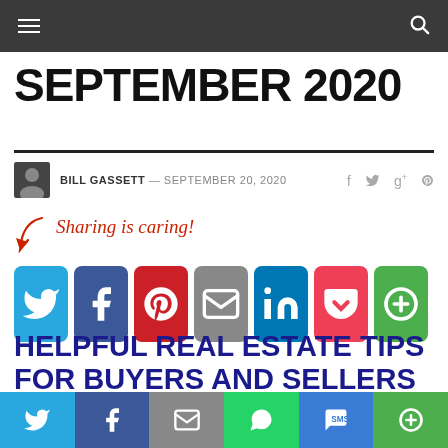SEPTEMBER 2020
BILL GASSETT — SEPTEMBER 20, 2020
[Figure (infographic): Sharing is caring! sharing buttons: Twitter, Facebook, Pinterest, Email, LinkedIn, Pocket, More]
HELPFUL REAL ESTATE TIPS FOR BUYERS AND SELLERS
Bottom social share bar with Twitter, Facebook, Email, WhatsApp, SMS, More icons